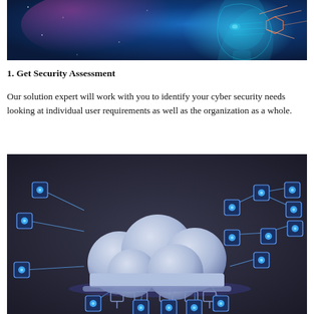[Figure (illustration): Digital AI face with geometric wireframe overlay on blue glowing background — cybersecurity themed illustration]
1. Get Security Assessment
Our solution expert will work with you to identify your cyber security needs looking at individual user requirements as well as the organization as a whole.
[Figure (illustration): 3D cloud computing network diagram with glowing blue connection nodes and cables on dark background]